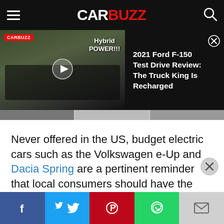CARBUZZ
[Figure (screenshot): CarBuzz video thumbnail showing a black Ford F-150 truck with 'Hybrid POWER!!!' text overlay and a play button, alongside text '2021 Ford F-150 Test Drive Review: The Truck King Is Recharged' on a dark background]
2021 Ford F-150 Test Drive Review: The Truck King Is Recharged
Never offered in the US, budget electric cars such as the Volkswagen e-Up and Dacia Spring are a pertinent reminder that local consumers should have the option of purchasing an affordable electric
Social share bar: Facebook, Twitter, Pinterest, WhatsApp, Email